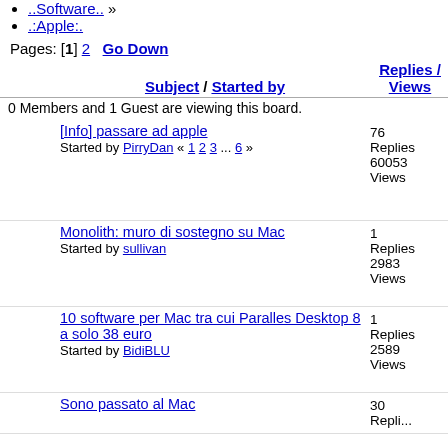..Software.. »
.:Apple:.
Pages: [1] 2  Go Down
| Subject / Started by | Replies / Views | Last post |
| --- | --- | --- |
| [Info] passare ad apple
Started by PirryDan « 1 2 3 ... 6 » | 76 Replies
60053 Views | Last post
09 February , 2014, 21:11:16 PM
by Ing. Edoardo |
| Monolith: muro di sostegno su Mac
Started by sullivan | 1 Replies
2983 Views | Last post
24 September , 2013, 12:51:19 PM
by Gilean |
| 10 software per Mac tra cui Paralles Desktop 8 a solo 38 euro
Started by BidiBLU | 1 Replies
2589 Views | Last post
21 March , 2013, 08:29:26 AM
by Gilean |
| Sono passato al Mac | 30 Replies | Last post
29 December |